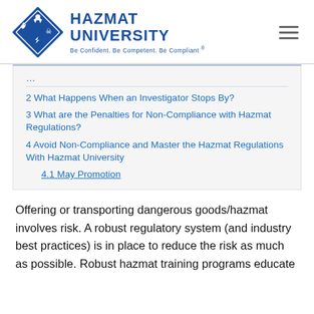[Figure (logo): Hazmat University logo with diamond hazmat symbol and text 'HAZMAT UNIVERSITY - Be Confident. Be Competent. Be Compliant®']
2 What Happens When an Investigator Stops By?
3 What are the Penalties for Non-Compliance with Hazmat Regulations?
4 Avoid Non-Compliance and Master the Hazmat Regulations With Hazmat University
4.1 May Promotion
Offering or transporting dangerous goods/hazmat involves risk.  A robust regulatory system (and industry best practices) is in place to reduce the risk as much as possible.  Robust hazmat training programs educate